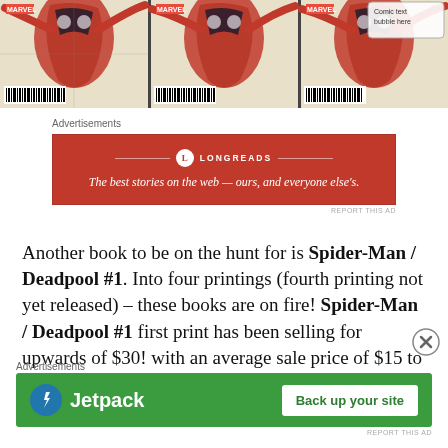[Figure (photo): Three Spider-Man/Deadpool comic book covers side by side showing Spider-Man in action poses with Marvel logo and barcodes]
Advertisements
[Figure (other): Longreads advertisement: red background with logo and text 'The best stories on the web — ours, and everyone else's.']
Another book to be on the hunt for is Spider-Man / Deadpool #1. Into four printings (fourth printing not yet released) – these books are on fire! Spider-Man / Deadpool #1 first print has been selling for upwards of $30! with an average sale price of $15 to $20. Meanwhile, the second and third prints have been
Advertisements
[Figure (other): Jetpack advertisement: green background with Jetpack logo and 'Back up your site' button]